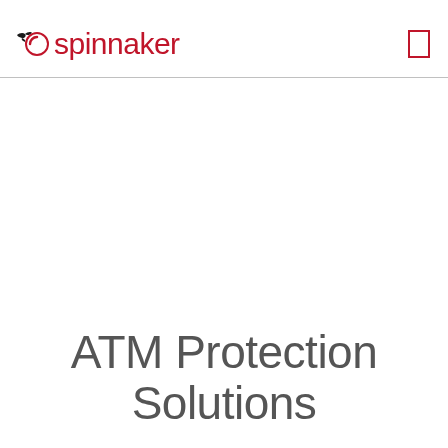spinnaker
ATM Protection Solutions